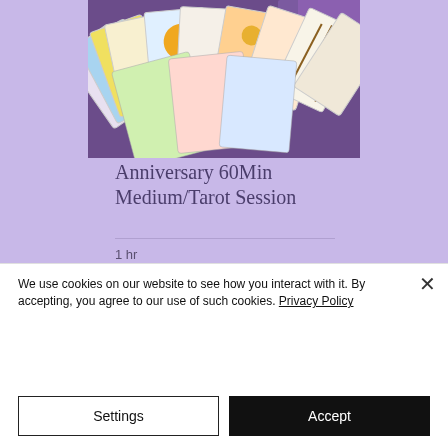[Figure (photo): A spread of colorful tarot cards fanned out, showing various Rider-Waite style tarot card illustrations with bright colors on a purple/dark background]
Anniversary 60Min Medium/Tarot Session
1 hr
$78
We use cookies on our website to see how you interact with it. By accepting, you agree to our use of such cookies. Privacy Policy
Settings
Accept